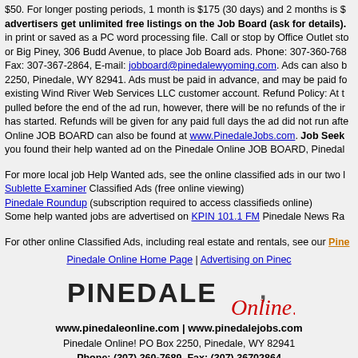$50. For longer posting periods, 1 month is $175 (30 days) and 2 months is $... advertisers get unlimited free listings on the Job Board (ask for details). in print or saved as a PC word processing file. Call or stop by Office Outlet store or Big Piney, 306 Budd Avenue, to place Job Board ads. Phone: 307-360-768... Fax: 307-367-2864, E-mail: jobboard@pinedalewyoming.com. Ads can also b... 2250, Pinedale, WY 82941. Ads must be paid in advance, and may be paid fo... existing Wind River Web Services LLC customer account. Refund Policy: At t... pulled before the end of the ad run, however, there will be no refunds of the ir... has started. Refunds will be given for any paid full days the ad did not run afte... Online JOB BOARD can also be found at www.PinedaleJobs.com. Job Seek... you found their help wanted ad on the Pinedale Online JOB BOARD, Pinedal...
For more local job Help Wanted ads, see the online classified ads in our two l... Sublette Examiner Classified Ads (free online viewing)
Pinedale Roundup (subscription required to access classifieds online)
Some help wanted jobs are advertised on KPIN 101.1 FM Pinedale News Ra...
For other online Classified Ads, including real estate and rentals, see our Pine...
Pinedale Online Home Page | Advertising on Pinec...
[Figure (logo): Pinedale Online! logo with bold uppercase PINEDALE text and red italic Online! script]
www.pinedaleonline.com | www.pinedalejobs.com
Pinedale Online! PO Box 2250, Pinedale, WY 82941
Phone: (307) 360-7689, Fax: (307) 36702864
Located in Office Outlet in Pinedale, 43 S. Sublette Ave.
E-mail: support@pinedaleonline.com
Copyright © 2021 Pinedale Online. All rights reserved.